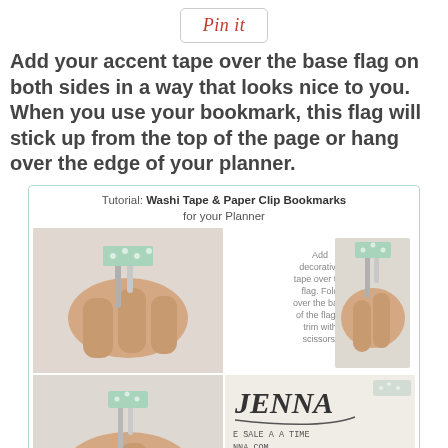[Figure (other): Pinterest 'Pin it' button]
Add your accent tape over the base flag on both sides in a way that looks nice to you.  When you use your bookmark, this flag will stick up from the top of the page or hang over the edge of your planner.
[Figure (photo): Tutorial collage showing Washi Tape & Paper Clip Bookmarks for your Planner — four-photo grid with instructions showing hands applying decorative tape to a paper clip bookmark, plus branding from Jenna/artéatread.com. Center text reads: Add decorative tape over the flag. Fold over the back of the flag & trim with scissors.]